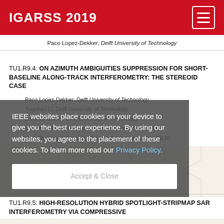IGARSS 2019
Paco Lopez-Dekker; Delft University of Technology
TU1.R9.4: ON AZIMUTH AMBIGUITIES SUPPRESSION FOR SHORT-BASELINE ALONG-TRACK INTERFEROMETRY: THE STEREOID CASE
Paco Lopez-Dekker; Delft University of Technology
Yuanhao Li; Delft University of Technology
Lorenzo Iannini; Delft University of Technology
Pau Prats-Iraola; German Aerospace Center (DLR)
Marc Rodriguez-Cassola; German Aerospace Center (DLR)
IEEE websites place cookies on your device to give you the best user experience. By using our websites, you agree to the placement of these cookies. To learn more read our Privacy Policy.
TU1.R9.5: HIGH-RESOLUTION HYBRID SPOTLIGHT-STRIPMAP SAR INTERFEROMETRY VIA COMPRESSIVE